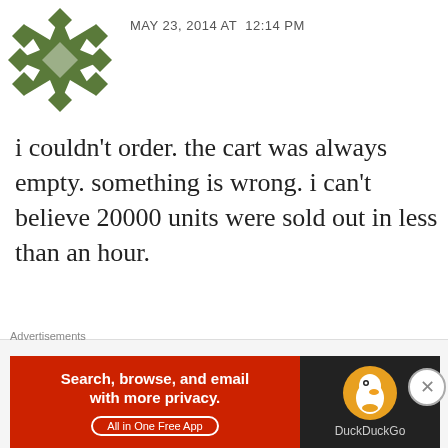[Figure (illustration): Green geometric/snowflake avatar icon, top left corner]
MAY 23, 2014 AT  12:14 PM
i couldn’t order. the cart was always empty. something is wrong. i can’t believe 20000 units were sold out in less than an hour.
★ Like
REPLY
Advertisements
[Figure (logo): Longreads advertisement banner, red background with L logo and LONGREADS text]
Advertisements
[Figure (screenshot): DuckDuckGo advertisement: red left panel with 'Search, browse, and email with more privacy. All in One Free App' text, dark right panel with DuckDuckGo duck logo]